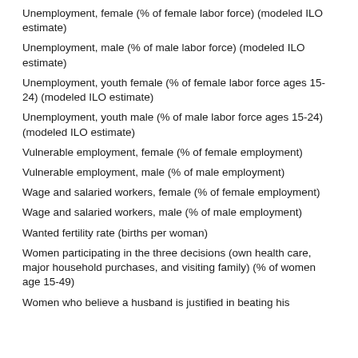Unemployment, female (% of female labor force) (modeled ILO estimate)
Unemployment, male (% of male labor force) (modeled ILO estimate)
Unemployment, youth female (% of female labor force ages 15-24) (modeled ILO estimate)
Unemployment, youth male (% of male labor force ages 15-24) (modeled ILO estimate)
Vulnerable employment, female (% of female employment)
Vulnerable employment, male (% of male employment)
Wage and salaried workers, female (% of female employment)
Wage and salaried workers, male (% of male employment)
Wanted fertility rate (births per woman)
Women participating in the three decisions (own health care, major household purchases, and visiting family) (% of women age 15-49)
Women who believe a husband is justified in beating his